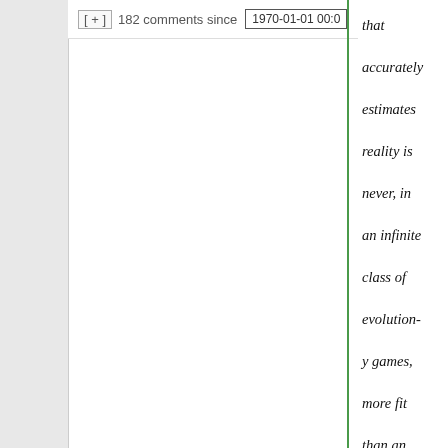[ + ]  182 comments since  1970-01-01 00:0
that accurately estimates reality is never, in an infinite class of evolutionary games, more fit than an organism of equal complexity that does not estimate objective